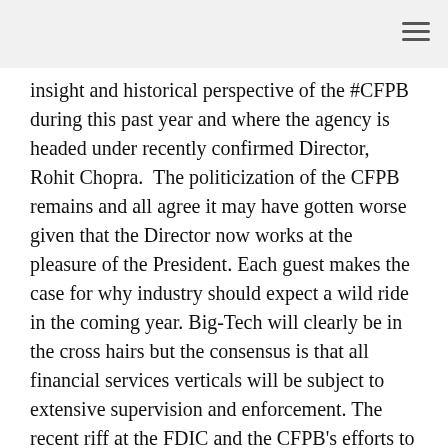insight and historical perspective of the #CFPB during this past year and where the agency is headed under recently confirmed Director, Rohit Chopra.  The politicization of the CFPB remains and all agree it may have gotten worse given that the Director now works at the pleasure of the President. Each guest makes the case for why industry should expect a wild ride in the coming year. Big-Tech will clearly be in the cross hairs but the consensus is that all financial services verticals will be subject to extensive supervision and enforcement. The recent riff at the FDIC and the CFPB's efforts to influence banking policy will make for a tumultuous 2022.
DISCLAIMER – No information contained in this Podcast or on this Website shall constitute financial, investment, legal and/or other professional advice and that no professional relationship of any kind is created between you and podcast host, the guests or Clark Hill PLC. You are urged to speak with your financial, investment, or legal advisors before